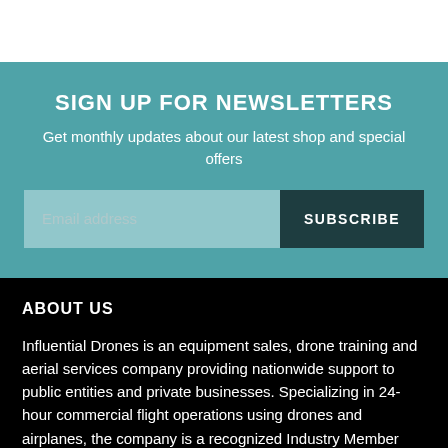SIGN UP FOR NEWSLETTERS
Get monthly updates about our latest shop and special offers
ABOUT US
Influential Drones is an equipment sales, drone training and aerial services company providing nationwide support to public entities and private businesses. Specializing in 24-hour commercial flight operations using drones and airplanes, the company is a recognized Industry Member with the FAA Safety Team. Influential Drones through its Certified Flight Instructor provides Part 61 flight training.